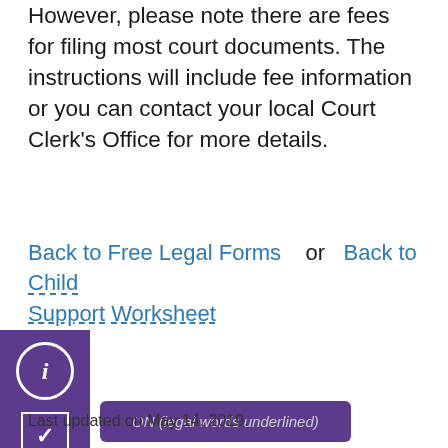However, please note there are fees for filing most court documents. The instructions will include fee information or you can contact your local Court Clerk's Office for more details.
Back to Free Legal Forms  or  Back to Child Support Worksheet
[Figure (screenshot): UI widget showing a purple sidebar with info icon and checkmark button, and a tooltip bubble saying 'ON (legal words underlined)']
Last updated on May 14, 2019.